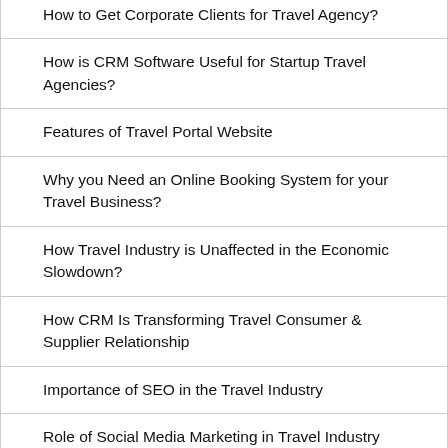How to Get Corporate Clients for Travel Agency?
How is CRM Software Useful for Startup Travel Agencies?
Features of Travel Portal Website
Why you Need an Online Booking System for your Travel Business?
How Travel Industry is Unaffected in the Economic Slowdown?
How CRM Is Transforming Travel Consumer & Supplier Relationship
Importance of SEO in the Travel Industry
Role of Social Media Marketing in Travel Industry